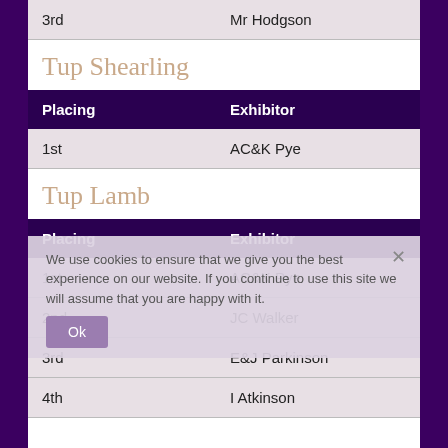| Placing | Exhibitor |
| --- | --- |
| 3rd | Mr Hodgson |
Tup Shearling
| Placing | Exhibitor |
| --- | --- |
| 1st | AC&K Pye |
Tup Lamb
| Placing | Exhibitor |
| --- | --- |
| 1st | AC&K Pye |
| 2nd | JC Walker |
| 3rd | E&J Parkinson |
| 4th | I Atkinson |
We use cookies to ensure that we give you the best experience on our website. If you continue to use this site we will assume that you are happy with it.